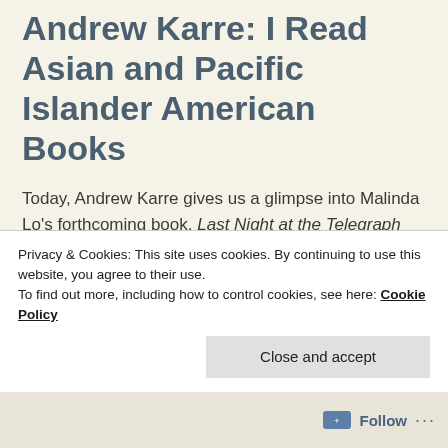Andrew Karre: I Read Asian and Pacific Islander American Books
Today, Andrew Karre gives us a glimpse into Malinda Lo's forthcoming book, Last Night at the Telegraph Club. As an editor at Dutton, (a division of Penguin Young Readers Group) Karre has come to know this book almost as well as she does. He brings an emotion into this reading and we have to wonder, what is it about this selection? What particularly in this selection is being revealed to us through Lo's descriptive writing that appeals to Karre? For what are we being prepared?
Privacy & Cookies: This site uses cookies. By continuing to use this website, you agree to their use.
To find out more, including how to control cookies, see here: Cookie Policy